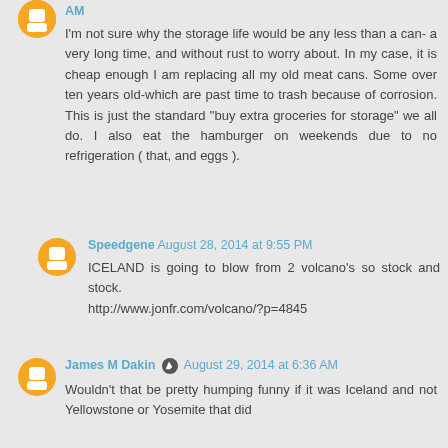AM
I'm not sure why the storage life would be any less than a can- a very long time, and without rust to worry about. In my case, it is cheap enough I am replacing all my old meat cans. Some over ten years old-which are past time to trash because of corrosion. This is just the standard "buy extra groceries for storage" we all do. I also eat the hamburger on weekends due to no refrigeration ( that, and eggs ).
Speedgene August 28, 2014 at 9:55 PM
ICELAND is going to blow from 2 volcano's so stock and stock. http://www.jonfr.com/volcano/?p=4845
James M Dakin August 29, 2014 at 6:36 AM
Wouldn't that be pretty humping funny if it was Iceland and not Yellowstone or Yosemite that did